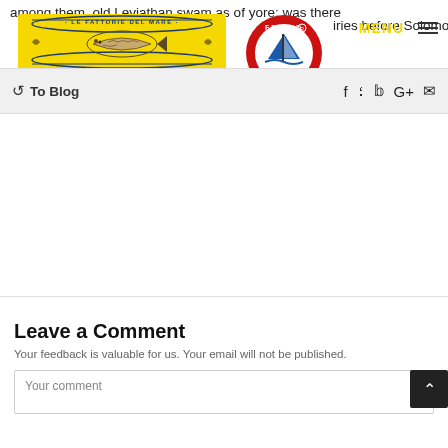among them, old Leviathan swam as of yore; was there
[Figure (logo): Le Fattorie Del Mare yellow logo with fish illustration]
[Figure (logo): Friend of the Sea circular red and blue logo with sailboat]
isph iries before Solomon
MENU
↺ To Blog
f  p  y  G+  ✉
Leave a Comment
Your feedback is valuable for us. Your email will not be published.
Your comment